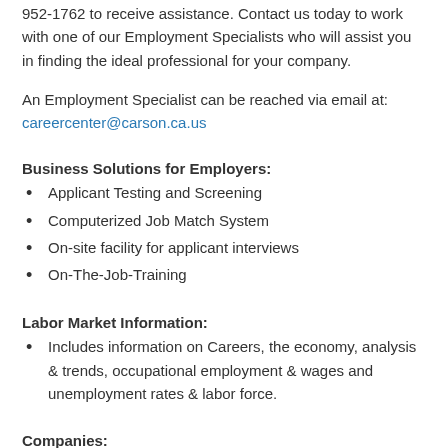952-1762 to receive assistance. Contact us today to work with one of our Employment Specialists who will assist you in finding the ideal professional for your company.
An Employment Specialist can be reached via email at:
careercenter@carson.ca.us
Business Solutions for Employers:
Applicant Testing and Screening
Computerized Job Match System
On-site facility for applicant interviews
On-The-Job-Training
Labor Market Information:
Includes information on Careers, the economy, analysis & trends, occupational employment & wages and unemployment rates & labor force.
Companies: